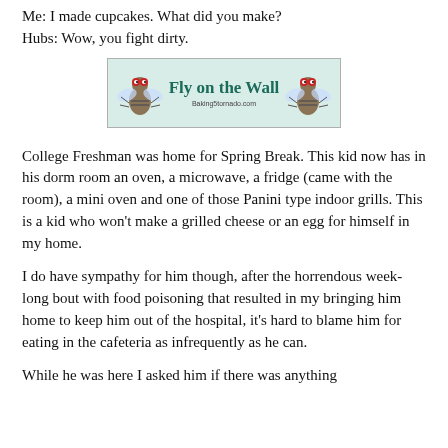Me: I made cupcakes. What did you make?
Hubs: Wow, you fight dirty.
[Figure (logo): Fly on the Wall blog banner with two cartoon flies and teal/green text on light green background]
College Freshman was home for Spring Break. This kid now has in his dorm room an oven, a microwave, a fridge (came with the room), a mini oven and one of those Panini type indoor grills. This is a kid who won't make a grilled cheese or an egg for himself in my home.
I do have sympathy for him though, after the horrendous week-long bout with food poisoning that resulted in my bringing him home to keep him out of the hospital, it's hard to blame him for eating in the cafeteria as infrequently as he can.
While he was here I asked him if there was anything